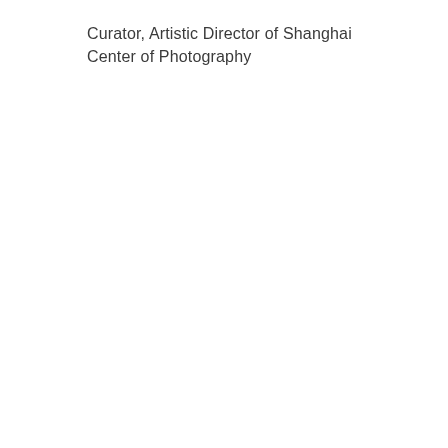Curator, Artistic Director of Shanghai Center of Photography